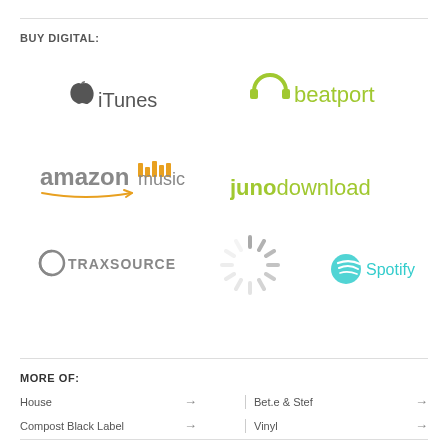BUY DIGITAL:
[Figure (logo): iTunes logo with Apple icon]
[Figure (logo): Beatport logo in green]
[Figure (logo): Amazon Music logo]
[Figure (logo): Juno Download logo in green]
[Figure (logo): Traxsource logo]
[Figure (illustration): Loading spinner graphic]
[Figure (logo): Spotify logo in teal]
MORE OF:
House →
Bet.e & Stef →
Compost Black Label →
Vinyl →